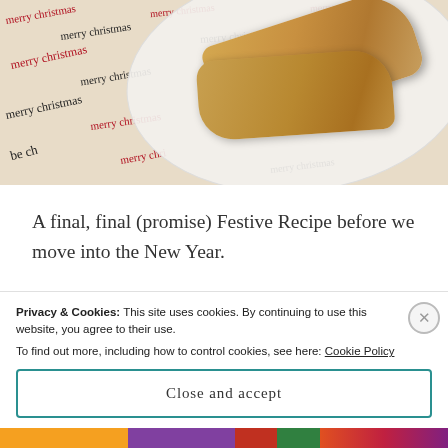[Figure (photo): Photo of biscotti/cantuccini cookies on a white oval plate, placed on Christmas wrapping paper with 'merry christmas' text in red and black script]
A final, final (promise) Festive Recipe before we move into the New Year.
I'm not sure why, but in our family, Biscotti were always called Cantuccini.  Maybe it's because the
Privacy & Cookies: This site uses cookies. By continuing to use this website, you agree to their use.
To find out more, including how to control cookies, see here: Cookie Policy
Close and accept